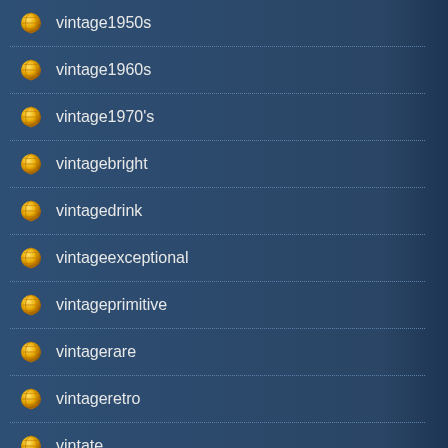vintage1950s
vintage1960s
vintage1970's
vintagebright
vintagedrink
vintageexceptional
vintageprimitive
vintagerare
vintageretro
vintate
vintiquewise
volkswagen
volvo
vornado
waiters